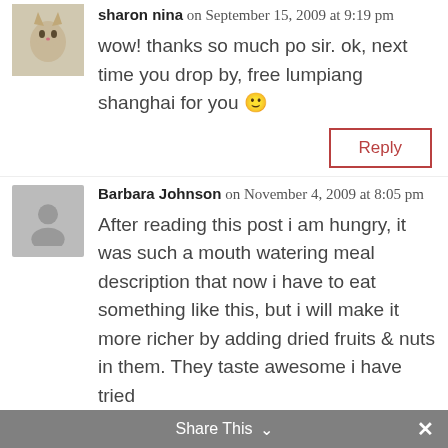[Figure (photo): Small avatar photo of sharon nina, a cat/kitten image]
sharon nina on September 15, 2009 at 9:19 pm
wow! thanks so much po sir. ok, next time you drop by, free lumpiang shanghai for you 🙂
Reply
[Figure (photo): Gray placeholder avatar silhouette for Barbara Johnson]
Barbara Johnson on November 4, 2009 at 8:05 pm
After reading this post i am hungry, it was such a mouth watering meal description that now i have to eat something like this, but i will make it more richer by adding dried fruits & nuts in them. They taste awesome i have tried
Share This ∨  ✕